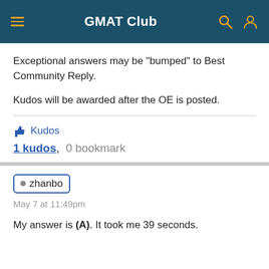GMAT Club
Exceptional answers may be "bumped" to Best Community Reply.
Kudos will be awarded after the OE is posted.
👍 Kudos
1 kudos,  0 bookmark
• zhanbo
May 7 at 11:49pm
My answer is (A). It took me 39 seconds.